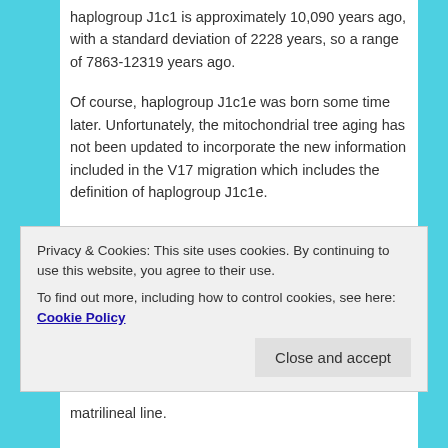haplogroup J1c1 is approximately 10,090 years ago, with a standard deviation of 2228 years, so a range of 7863-12319 years ago.
Of course, haplogroup J1c1e was born some time later. Unfortunately, the mitochondrial tree aging has not been updated to incorporate the new information included in the V17 migration which includes the definition of haplogroup J1c1e.
Where was haplogroup J1c1 born 7863-12319 years ago? Probably the Middle East, but we really don't know positively.
Not Just Ollie's Haplogroup
Privacy & Cookies: This site uses cookies. By continuing to use this website, you agree to their use.
To find out more, including how to control cookies, see here: Cookie Policy
matrilineal line.